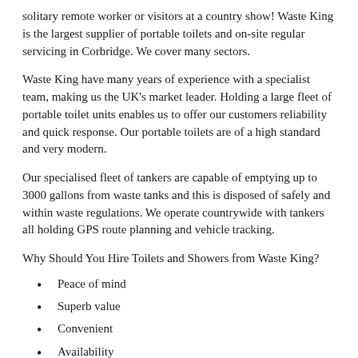solitary remote worker or visitors at a country show!  Waste King is the largest supplier of portable toilets and on-site regular servicing in Corbridge.  We cover many sectors.
Waste King have many years of experience with a specialist team, making us the UK's market leader.  Holding a large fleet of portable toilet units enables us to offer our customers reliability and quick response.  Our portable toilets are of a high standard and very modern.
Our specialised fleet of tankers are capable of emptying up to 3000 gallons from waste tanks and this is disposed of safely and within waste regulations.  We operate countrywide with tankers all holding GPS route planning and vehicle tracking.
Why Should You Hire Toilets and Showers from Waste King?
Peace of mind
Superb value
Convenient
Availability
Exceptional...